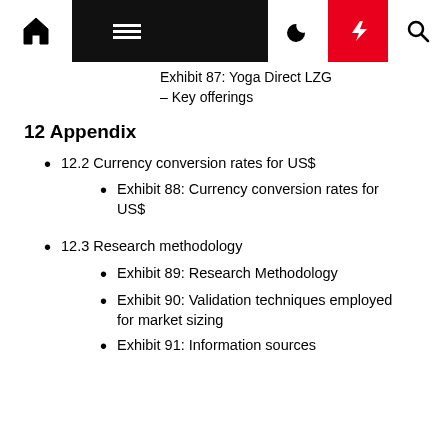Navigation bar with home, menu, moon, bolt, and search icons
Exhibit 87: Yoga Direct LZG – Key offerings
12 Appendix
12.2 Currency conversion rates for US$
Exhibit 88: Currency conversion rates for US$
12.3 Research methodology
Exhibit 89: Research Methodology
Exhibit 90: Validation techniques employed for market sizing
Exhibit 91: Information sources